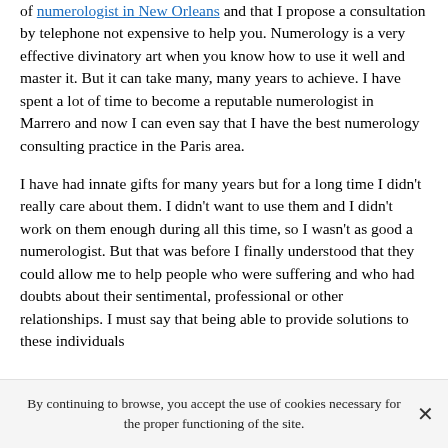of numerologist in New Orleans and that I propose a consultation by telephone not expensive to help you. Numerology is a very effective divinatory art when you know how to use it well and master it. But it can take many, many years to achieve. I have spent a lot of time to become a reputable numerologist in Marrero and now I can even say that I have the best numerology consulting practice in the Paris area.

I have had innate gifts for many years but for a long time I didn't really care about them. I didn't want to use them and I didn't work on them enough during all this time, so I wasn't as good a numerologist. But that was before I finally understood that they could allow me to help people who were suffering and who had doubts about their sentimental, professional or other relationships. I must say that being able to provide solutions to these individuals
By continuing to browse, you accept the use of cookies necessary for the proper functioning of the site.